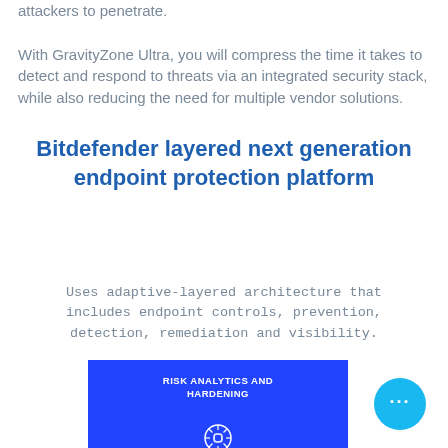attackers to penetrate.

With GravityZone Ultra, you will compress the time it takes to detect and respond to threats via an integrated security stack, while also reducing the need for multiple vendor solutions.
Bitdefender layered next generation endpoint protection platform
Uses adaptive-layered architecture that includes endpoint controls, prevention, detection, remediation and visibility.
[Figure (infographic): Blue infographic panel showing 'RISK ANALYTICS AND HARDENING' with icons including a brain/circuit icon labeled 'ENDPOINT RISK ANALYTICS' and a shield icon below it.]